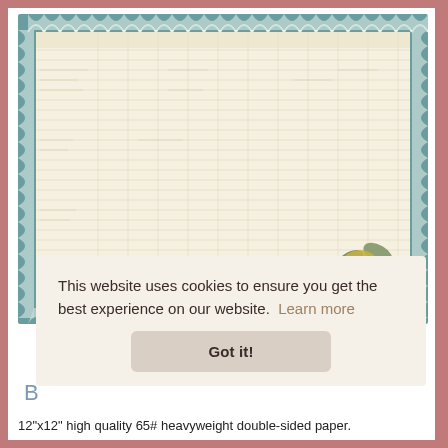[Figure (photo): Product photo of a 12x12 decorative scrapbook paper sheet with teal/blue textured border featuring scalloped edges, a grid/ledger pattern in cream/tan, and a floral embellishment (rose with leaves) in the bottom right corner.]
This website uses cookies to ensure you get the best experience on our website.  Learn more
Got it!
B
12"x12" high quality 65# heavyweight double-sided paper.